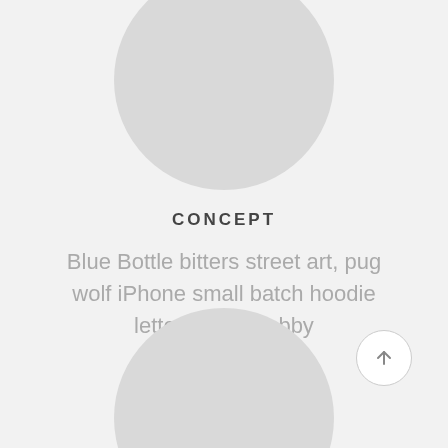[Figure (illustration): Large light gray circle partially visible at the top center of the page]
CONCEPT
Blue Bottle bitters street art, pug wolf iPhone small batch hoodie letterpress shabby
[Figure (illustration): Large light gray circle partially visible at the bottom center of the page, with a circular arrow-up button at the bottom right]
[Figure (other): Circular button with upward arrow icon at bottom right]